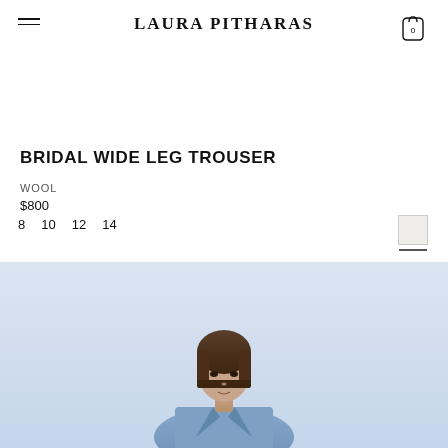LAURA PITHARAS
BRIDAL WIDE LEG TROUSER
WOOL
$800
8  10  12  14
ADD TO BAG
[Figure (photo): Fashion model wearing a light blue blazer suit with a bob haircut, photographed against a light blue background]